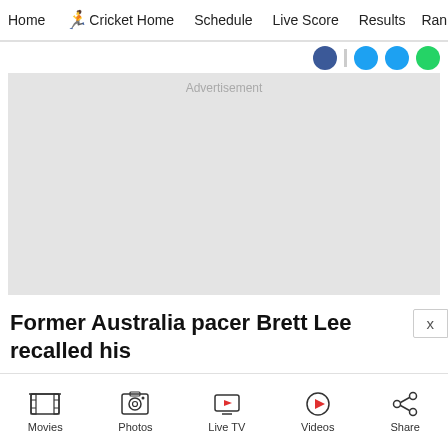Home  Cricket Home  Schedule  Live Score  Results  Ran
[Figure (screenshot): Advertisement placeholder box with light gray background]
Former Australia pacer Brett Lee recalled his
Movies  Photos  Live TV  Videos  Share